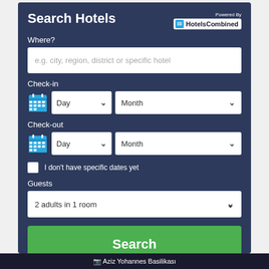Search Hotels
[Figure (logo): Powered By HotelsCombined logo with blue icon]
Where?
e.g. city, region, district or specific hotel
Check-in
Day
Month
Check-out
Day
Month
I don't have specific dates yet
Guests
2 adults in 1 room
Search